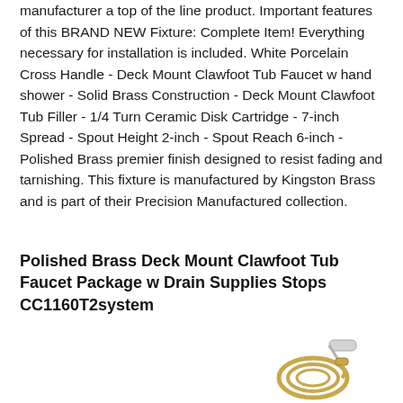manufacturer a top of the line product. Important features of this BRAND NEW Fixture: Complete Item! Everything necessary for installation is included. White Porcelain Cross Handle - Deck Mount Clawfoot Tub Faucet w hand shower - Solid Brass Construction - Deck Mount Clawfoot Tub Filler - 1/4 Turn Ceramic Disk Cartridge - 7-inch Spread - Spout Height 2-inch - Spout Reach 6-inch - Polished Brass premier finish designed to resist fading and tarnishing. This fixture is manufactured by Kingston Brass and is part of their Precision Manufactured collection.
Polished Brass Deck Mount Clawfoot Tub Faucet Package w Drain Supplies Stops CC1160T2system
[Figure (photo): Partial view of a polished brass clawfoot tub faucet fixture with a hand shower and coiled hose, shown at the bottom right of the page.]